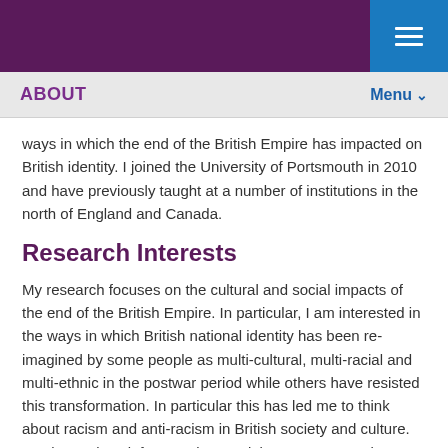ABOUT | Menu
ways in which the end of the British Empire has impacted on British identity. I joined the University of Portsmouth in 2010 and have previously taught at a number of institutions in the north of England and Canada.
Research Interests
My research focuses on the cultural and social impacts of the end of the British Empire. In particular, I am interested in the ways in which British national identity has been re-imagined by some people as multi-cultural, multi-racial and multi-ethnic in the postwar period while others have resisted this transformation. In particular this has led me to think about racism and anti-racism in British society and culture. My doctoral work focussed on social movements and Non-Governmental Organisations (NGOs) in the 1960s including the Campaign for Nuclear Disarmament (CND), the